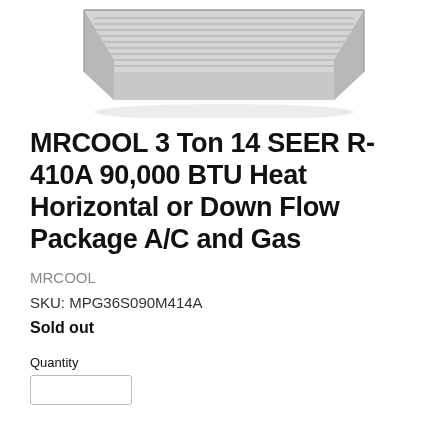[Figure (photo): MRCOOL package air conditioner unit - gray/silver rectangular rooftop HVAC unit viewed from above at an angle, showing ventilation grilles on top]
MRCOOL 3 Ton 14 SEER R-410A 90,000 BTU Heat Horizontal or Down Flow Package A/C and Gas
MRCOOL
SKU: MPG36S090M414A
Sold out
Quantity